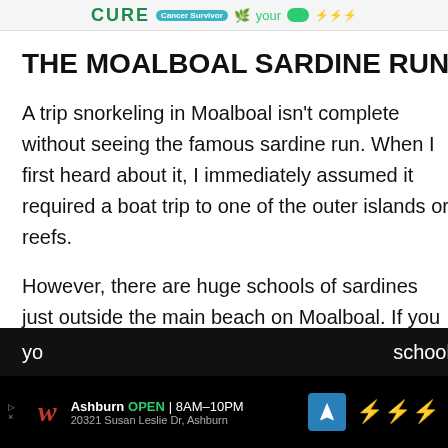[Figure (screenshot): Advertisement banner at top of page with green text on light background]
THE MOALBOAL SARDINE RUN
A trip snorkeling in Moalboal isn't complete without seeing the famous sardine run. When I first heard about it, I immediately assumed it required a boat trip to one of the outer islands or reefs.
However, there are huge schools of sardines just outside the main beach on Moalboal. If you follow the instructions above to reach the water access point, simply swim out to the deep reef wall, and
[Figure (screenshot): Bottom advertisement banner for Walgreens store in Ashburn, open 8AM-10PM, address 20321 Susan Leslie Dr, Ashburn]